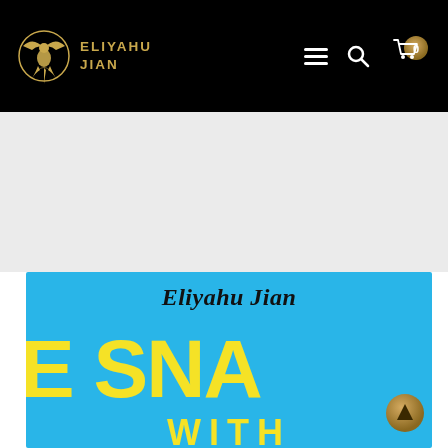ELIYAHU JIAN - Navigation bar with logo, hamburger menu, search, and cart (0 items)
[Figure (screenshot): Book cover showing partial title 'The SNAP' with 'WITH' below, on a bright blue background. Author name 'Eliyahu Jian' in black cursive script at top. Large yellow bold letters for the main title.]